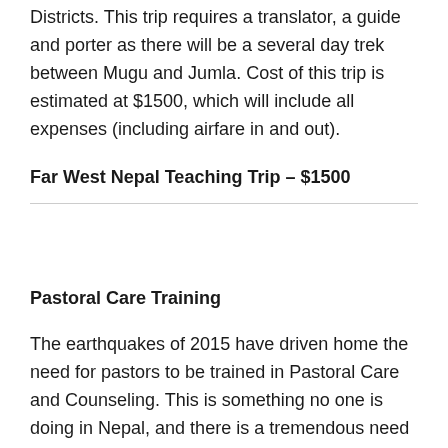Districts. This trip requires a translator, a guide and porter as there will be a several day trek between Mugu and Jumla. Cost of this trip is estimated at $1500, which will include all expenses (including airfare in and out).
Far West Nepal Teaching Trip – $1500
Pastoral Care Training
The earthquakes of 2015 have driven home the need for pastors to be trained in Pastoral Care and Counseling. This is something no one is doing in Nepal, and there is a tremendous need to incorporate this into ministry in order to make effective disciples for Christ. We are proposing 10 one day seminars at a cost of $300 each. The price includes food for participants (up to 50 people), plus transportation for